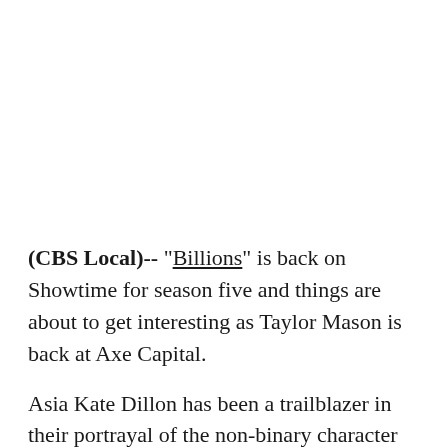(CBS Local)-- "Billions" is back on Showtime for season five and things are about to get interesting as Taylor Mason is back at Axe Capital.
Asia Kate Dillon has been a trailblazer in their portrayal of the non-binary character Mason and Dillon is excited for fans to check out season five of the series.